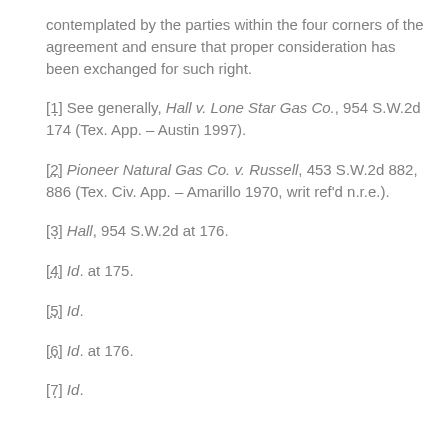contemplated by the parties within the four corners of the agreement and ensure that proper consideration has been exchanged for such right.
[1] See generally, Hall v. Lone Star Gas Co., 954 S.W.2d 174 (Tex. App. – Austin 1997).
[2] Pioneer Natural Gas Co. v. Russell, 453 S.W.2d 882, 886 (Tex. Civ. App. – Amarillo 1970, writ ref'd n.r.e.).
[3] Hall, 954 S.W.2d at 176.
[4] Id. at 175.
[5] Id.
[6] Id. at 176.
[7] Id.